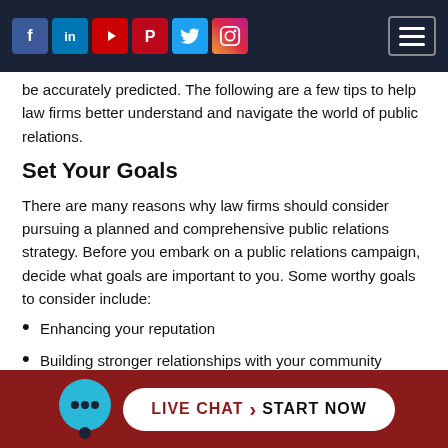Social media navigation bar with Facebook, LinkedIn, YouTube, Pinterest, Twitter, Instagram icons and hamburger menu
be accurately predicted. The following are a few tips to help law firms better understand and navigate the world of public relations.
Set Your Goals
There are many reasons why law firms should consider pursuing a planned and comprehensive public relations strategy. Before you embark on a public relations campaign, decide what goals are important to you. Some worthy goals to consider include:
Enhancing your reputation
Building stronger relationships with your community
Generating positive publicity
Educating the public about issues relevant to your practice
LIVE CHAT › START NOW